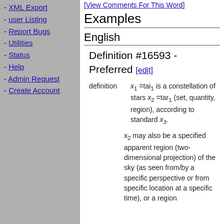XML Export
user Listing
Report Bugs
Utilities
Status
Help
Admin Request
Create Account
[View Comments For This Word]
Examples
English
Definition #16593 - Preferred [edit]
definition: x1 =tai1 is a constellation of stars x2 =tar1 (set, quantity, region), according to standard x3.
x2 may also be a specified apparent region (two-dimensional projection) of the sky (as seen from/by a specific perspective or from specific location at a specific time), or a region